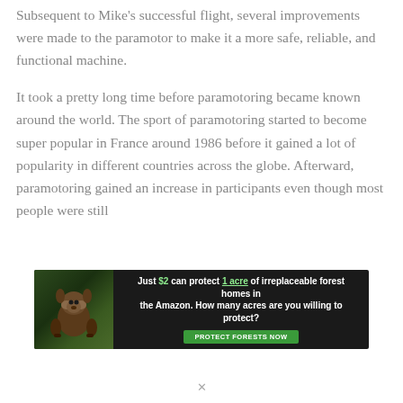Subsequent to Mike's successful flight, several improvements were made to the paramotor to make it a more safe, reliable, and functional machine.
It took a pretty long time before paramotoring became known around the world. The sport of paramotoring started to become super popular in France around 1986 before it gained a lot of popularity in different countries across the globe. Afterward, paramotoring gained an increase in participants even though most people were still
[Figure (infographic): Advertisement banner: dark background with rainforest imagery and an animal (orangutan). Text reads: 'Just $2 can protect 1 acre of irreplaceable forest homes in the Amazon. How many acres are you willing to protect?' with a green 'PROTECT FORESTS NOW' button.]